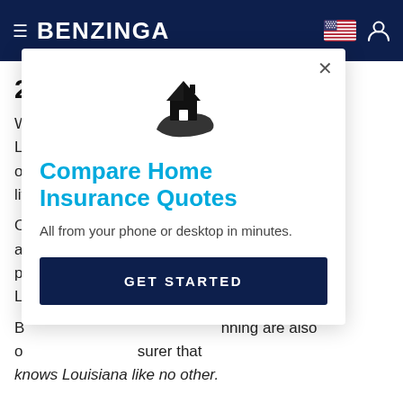BENZINGA
2. Louisiana Farm Bureau
W...of Louisiana, L...es its business o...s where they liv...
[Figure (illustration): Hand holding a house icon illustration]
Compare Home Insurance Quotes
All from your phone or desktop in minutes.
GET STARTED
O...n auto to home, a...ning a multi- p...nan with L...
B...nning are also o...surer that knows Louisiana like no other.